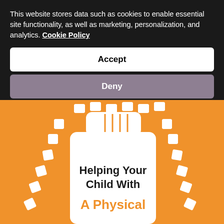This website stores data such as cookies to enable essential site functionality, as well as marketing, personalization, and analytics. Cookie Policy
Accept
Deny
[Figure (illustration): Orange background with a white illustrated pill bottle with dashed border pattern. Text inside the bottle reads 'Helping Your Child With A Physical' (partially visible). The pill bottle has a child-resistant cap with ridges.]